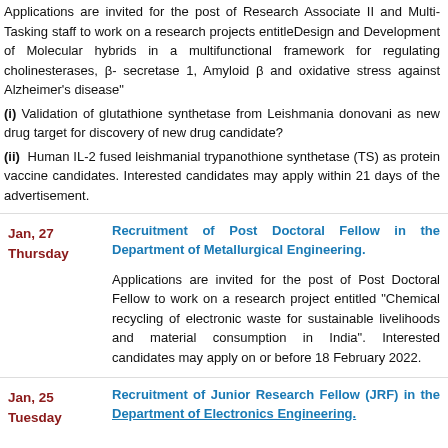Applications are invited for the post of Research Associate II and Multi-Tasking staff to work on a research projects entitleDesign and Development of Molecular hybrids in a multifunctional framework for regulating cholinesterases, β- secretase 1, Amyloid β and oxidative stress against Alzheimer's disease"
(i) Validation of glutathione synthetase from Leishmania donovani as new drug target for discovery of new drug candidate?
(ii) Human IL-2 fused leishmanial trypanothione synthetase (TS) as protein vaccine candidates. Interested candidates may apply within 21 days of the advertisement.
Jan, 27 Thursday
Recruitment of Post Doctoral Fellow in the Department of Metallurgical Engineering.
Applications are invited for the post of Post Doctoral Fellow to work on a research project entitled "Chemical recycling of electronic waste for sustainable livelihoods and material consumption in India". Interested candidates may apply on or before 18 February 2022.
Jan, 25 Tuesday
Recruitment of Junior Research Fellow (JRF) in the Department of Electronics Engineering.